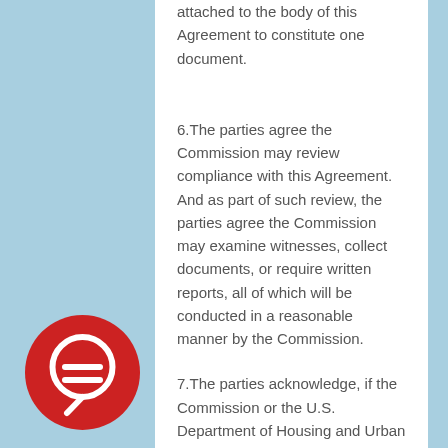attached to the body of this Agreement to constitute one document.
6.The parties agree the Commission may review compliance with this Agreement.  And as part of such review, the parties agree the Commission may examine witnesses, collect documents, or require written reports, all of which will be conducted in a reasonable manner by the Commission.
7.The parties acknowledge, if the Commission or the U.S. Department of Housing and Urban Development (HUD) has reasonable cause to believe that Respondents have breached this